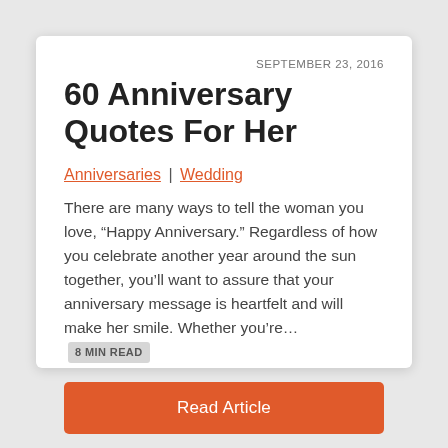SEPTEMBER 23, 2016
60 Anniversary Quotes For Her
Anniversaries | Wedding
There are many ways to tell the woman you love, “Happy Anniversary.” Regardless of how you celebrate another year around the sun together, you’ll want to assure that your anniversary message is heartfelt and will make her smile. Whether you’re…  8 MIN READ
Read Article